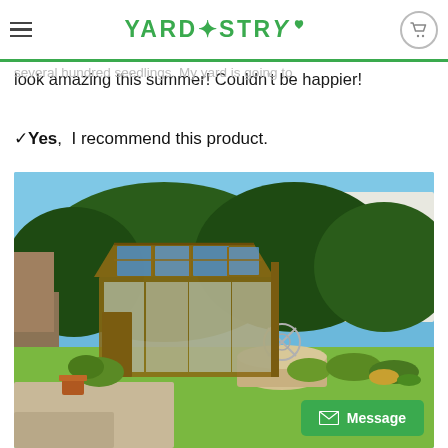YARDISTRY
at Costco and couldn't believe the quality and design features at such affordable price! I've only had it a few weeks and already grown several hundred seedlings. My yard is going to look amazing this summer! Couldn't be happier!
✓ Yes,  I recommend this product.
[Figure (photo): A wooden greenhouse structure with transparent polycarbonate roof panels in a garden setting. The greenhouse is surrounded by green shrubs and plants. A decorative metal sculpture is visible near the greenhouse. Clear blue sky in the background with a white building/fence visible on the right.]
Message